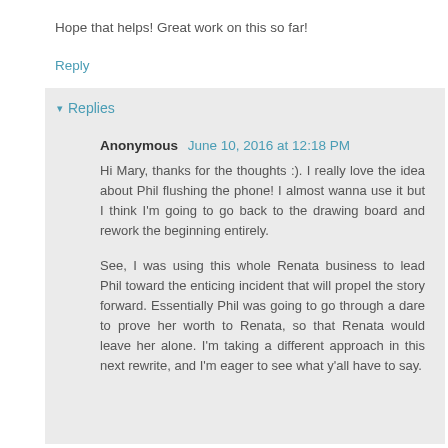Hope that helps! Great work on this so far!
Reply
▾ Replies
Anonymous June 10, 2016 at 12:18 PM
Hi Mary, thanks for the thoughts :). I really love the idea about Phil flushing the phone! I almost wanna use it but I think I'm going to go back to the drawing board and rework the beginning entirely.

See, I was using this whole Renata business to lead Phil toward the enticing incident that will propel the story forward. Essentially Phil was going to go through a dare to prove her worth to Renata, so that Renata would leave her alone. I'm taking a different approach in this next rewrite, and I'm eager to see what y'all have to say.